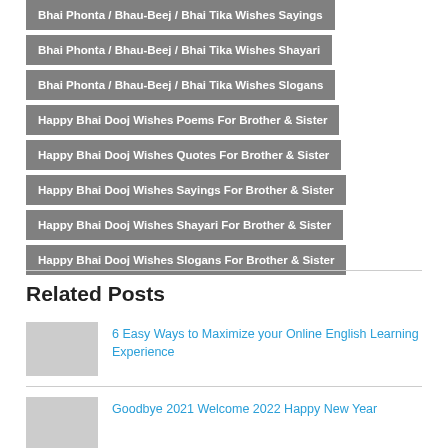Bhai Phonta / Bhau-Beej / Bhai Tika Wishes Sayings
Bhai Phonta / Bhau-Beej / Bhai Tika Wishes Shayari
Bhai Phonta / Bhau-Beej / Bhai Tika Wishes Slogans
Happy Bhai Dooj Wishes Poems For Brother & Sister
Happy Bhai Dooj Wishes Quotes For Brother & Sister
Happy Bhai Dooj Wishes Sayings For Brother & Sister
Happy Bhai Dooj Wishes Shayari For Brother & Sister
Happy Bhai Dooj Wishes Slogans For Brother & Sister
Related Posts
6 Easy Ways to Maximize your Online English Learning Experience
Goodbye 2021 Welcome 2022 Happy New Year